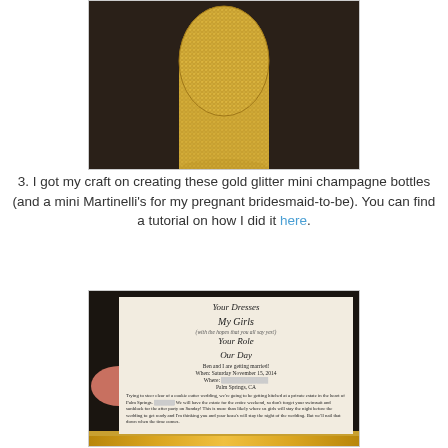[Figure (photo): Photo of a gold glitter mini champagne bottle on a dark surface]
3. I got my craft on creating these gold glitter mini champagne bottles (and a mini Martinelli's for my pregnant bridesmaid-to-be). You can find a tutorial on how I did it here.
[Figure (photo): Photo of a bridesmaid proposal card with script headings 'Your Dresses', 'My Girls', 'Your Role', 'Our Day' with wedding details for Saturday November 15, 2014 in Palm Springs, CA, held up against a gold glitter background]